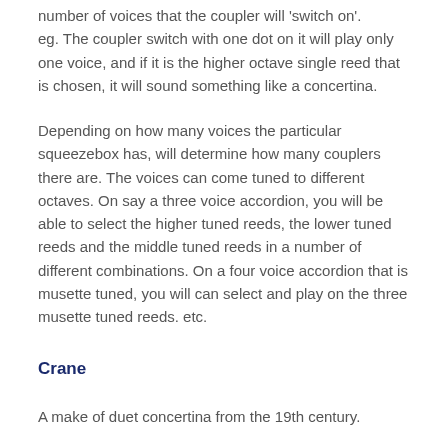number of voices that the coupler will 'switch on'. eg. The coupler switch with one dot on it will play only one voice, and if it is the higher octave single reed that is chosen, it will sound something like a concertina.
Depending on how many voices the particular squeezebox has, will determine how many couplers there are. The voices can come tuned to different octaves. On say a three voice accordion, you will be able to select the higher tuned reeds, the lower tuned reeds and the middle tuned reeds in a number of different combinations. On a four voice accordion that is musette tuned, you will can select and play on the three musette tuned reeds. etc.
Crane
A make of duet concertina from the 19th century.
Diatonic tuning